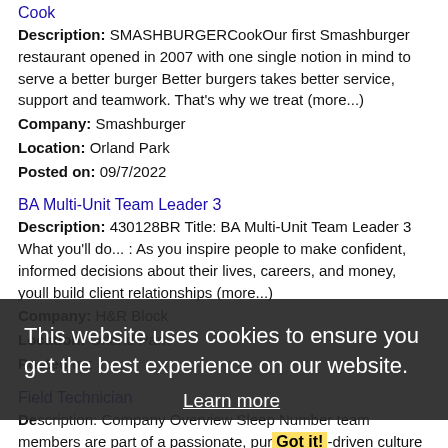Cook
Description: SMASHBURGERCookOur first Smashburger restaurant opened in 2007 with one single notion in mind to serve a better burger Better burgers takes better service, support and teamwork. That's why we treat (more...)
Company: Smashburger
Location: Orland Park
Posted on: 09/7/2022
BA Multi-Unit Team Leader 3
Description: 430128BR Title: BA Multi-Unit Team Leader 3 What you'll do... : As you inspire people to make confident, informed decisions about their lives, careers, and money, youll build client relationships (more...)
Company: H&R Block
Location: Orland Park
Posted on:
Field Technician
Description: Company Overview Sleep Number team members are part of a passionate, purpose-driven culture that supports improving the health and wellbeing of society through higher quality sleep. We are not just focused (more...)
Company: Sleep Number
This website uses cookies to ensure you get the best experience on our website.
Learn more
Got it!